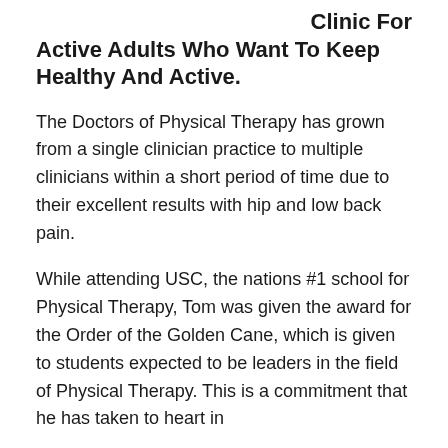Clinic For Active Adults Who Want To Keep Healthy And Active.
The Doctors of Physical Therapy has grown from a single clinician practice to multiple clinicians within a short period of time due to their excellent results with hip and low back pain.
While attending USC, the nations #1 school for Physical Therapy, Tom was given the award for the Order of the Golden Cane, which is given to students expected to be leaders in the field of Physical Therapy. This is a commitment that he has taken to heart in